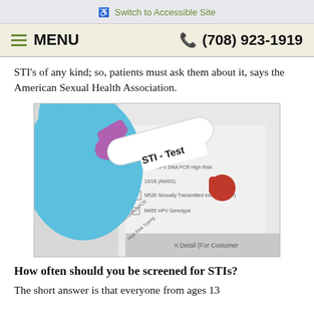Switch to Accessible Site
MENU   (708) 923-1919
STI's of any kind; so, patients must ask them about it, says the American Sexual Health Association.
[Figure (photo): A gloved hand holding a blood collection tube labeled 'STI - Test' over a medical checklist form with various test options including STI-related tests, one of which is checked with a red checkmark.]
How often should you be screened for STIs?
The short answer is that everyone from ages 13